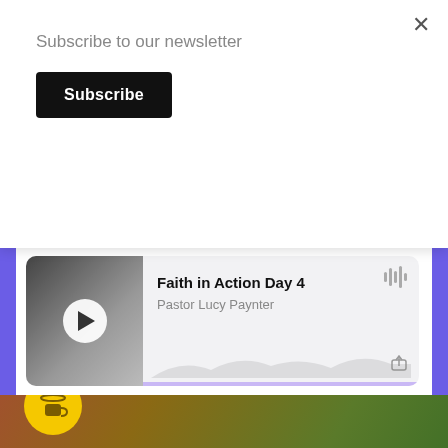Subscribe to our newsletter
Subscribe
Neither hath this man sinned, n...
[Figure (screenshot): Audio player card for 'Faith in Action Day 4' by Pastor Lucy Paynter with a black and white thumbnail of a person sitting by water, a play button overlay, waveform icon, share icon, and purple progress bar at the bottom.]
Faith in Action Day 4
Pastor Lucy Paynter
[Figure (screenshot): Bottom section showing nature/food background image with a yellow circle icon, a dark purple 'Donate' button with heart/coffee cup icon, and a dark 'Send Voicemail' button with microphone icon.]
Donate
Send Voicemail